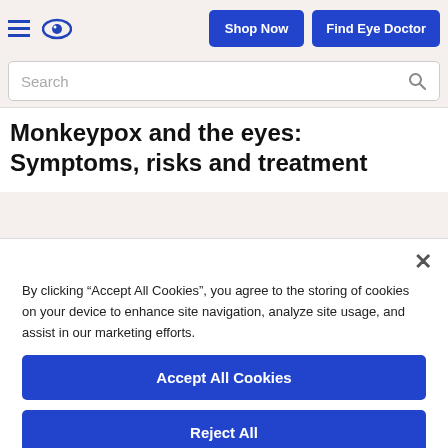Shop Now | Find Eye Doctor
Search
Monkeypox and the eyes: Symptoms, risks and treatment
By clicking “Accept All Cookies”, you agree to the storing of cookies on your device to enhance site navigation, analyze site usage, and assist in our marketing efforts.
Accept All Cookies
Reject All
Cookies Settings